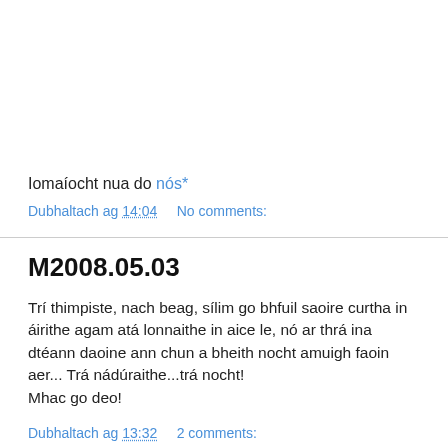Iomaíocht nua do nós*
Dubhaltach ag 14:04    No comments:
M2008.05.03
Trí thimpiste, nach beag, sílim go bhfuil saoire curtha in áirithe agam atá lonnaithe in aice le, nó ar thrá ina dtéann daoine ann chun a bheith nocht amuigh faoin aer... Trá nádúraithe...trá nocht!
Mhac go deo!
Dubhaltach ag 13:32    2 comments: